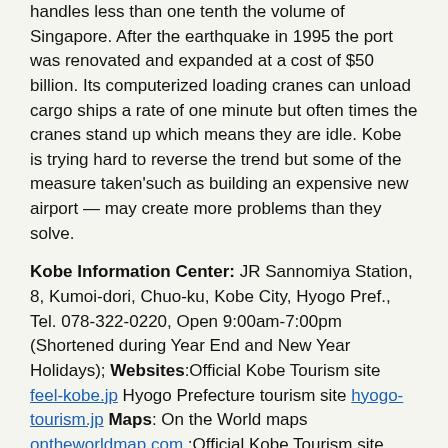handles less than one tenth the volume of Singapore. After the earthquake in 1995 the port was renovated and expanded at a cost of $50 billion. Its computerized loading cranes can unload cargo ships a rate of one minute but often times the cranes stand up which means they are idle. Kobe is trying hard to reverse the trend but some of the measure taken'such as building an expensive new airport — may create more problems than they solve.
Kobe Information Center: JR Sannomiya Station, 8, Kumoi-dori, Chuo-ku, Kobe City, Hyogo Pref., Tel. 078-322-0220, Open 9:00am-7:00pm (Shortened during Year End and New Year Holidays); Websites:Official Kobe Tourism site feel-kobe.jp Hyogo Prefecture tourism site hyogo-tourism.jp Maps: On the World maps ontheworldmap.com ;Official Kobe Tourism site feel-kobe.jp ; Subway and Train Maps: Urban Rail urbanrail.net JR West Railway Map westjr.co.jp Hotel Websites: Official Kobe Tourism site feel-kobe.jp ; Ryokan and Minshuku Japanese Guest Houses Japanese Guest Houses Budget Accommodation: Japan Youth Hostels Japan Youth Hostels Check Lonely Planet books Getting There: Kobe is accessible by air and by bus and by train from Tokyo (four and half hours) and Osaka (20 minutes) and other